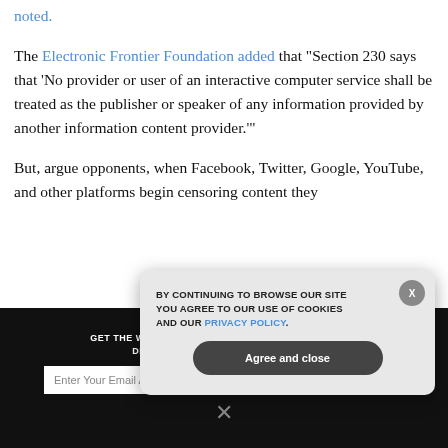noted.
The Electronic Frontier Foundation added that "Section 230 says that 'No provider or user of an interactive computer service shall be treated as the publisher or speaker of any information provided by another information content provider.'"
But, argue opponents, when Facebook, Twitter, Google, YouTube, and other platforms begin censoring content they
[Figure (screenshot): Dark newsletter subscription bar with email input and subscribe button, overlaid by a cookie consent popup dialog saying 'BY CONTINUING TO BROWSE OUR SITE YOU AGREE TO OUR USE OF COOKIES AND OUR PRIVACY POLICY.' with an 'Agree and close' button and an X close icon.]